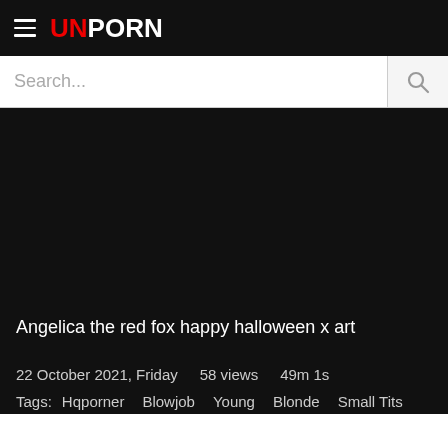UNPORN
Search...
[Figure (screenshot): Dark/black video player area]
Angelica the red fox happy halloween x art
22 October 2021, Friday   58 views   49m 1s
Tags:  Hqporner   Blowjob   Young   Blonde   Small Tits